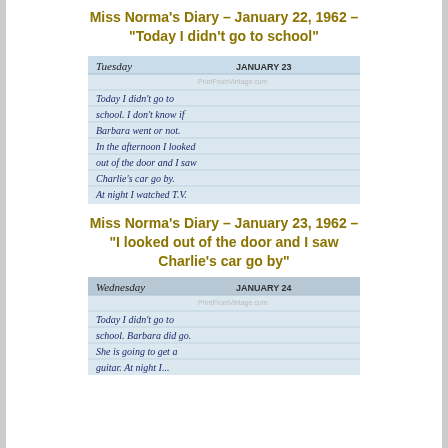Miss Norma's Diary – January 22, 1962 – "Today I didn't go to school"
[Figure (photo): Photo of a handwritten diary entry on lined paper for Tuesday, January 23. Text reads: Today I didn't go to school. I don't know if Barbara went or not. In the afternoon I looked out of the door and I saw Charlie's car go by. At night I watched T.V. PrintFromVintage.com watermark visible.]
Miss Norma's Diary – January 23, 1962 – "I looked out of the door and I saw Charlie's car go by"
[Figure (photo): Photo of a handwritten diary entry on lined paper for Wednesday, January 24. Text reads: Today I didn't go to school. Barbara did go. She is going to get a guitar. At night I... PrintFromVintage.com watermark visible.]